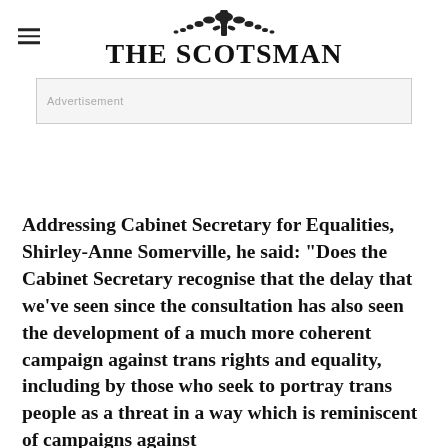THE SCOTSMAN
[Figure (other): Advertisement placeholder box]
Addressing Cabinet Secretary for Equalities, Shirley-Anne Somerville, he said: "Does the Cabinet Secretary recognise that the delay that we've seen since the consultation has also seen the development of a much more coherent campaign against trans rights and equality, including by those who seek to portray trans people as a threat in a way which is reminiscent of campaigns against